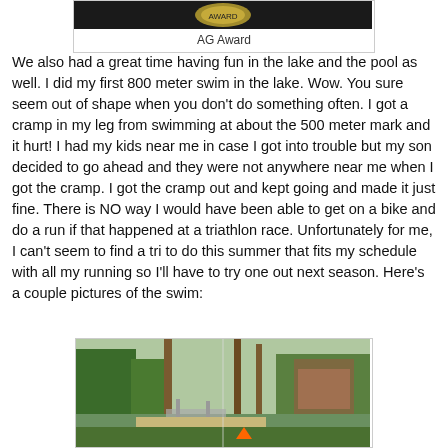[Figure (photo): AG Award photo — partial view of an award medal/plaque on dark background]
AG Award
We also had a great time having fun in the lake and the pool as well.  I did my first 800 meter swim in the lake.  Wow.  You sure seem out of shape when you don't do something often.  I got a cramp in my leg from swimming at about the 500 meter mark and it hurt!  I had my kids near me in case I got into trouble but my son decided to go ahead and they were not anywhere near me when I got the cramp.  I got the cramp out and kept going and made it just fine.  There is NO way I would have been able to get on a bike and do a run if that happened at a triathlon race.  Unfortunately for me, I can't seem to find a tri to do this summer that fits my schedule with all my running so I'll have to try one out next season.  Here's a couple pictures of the swim:
[Figure (photo): Lake swimming area with trees, sandy beach, grassy shoreline, and orange marker in foreground]